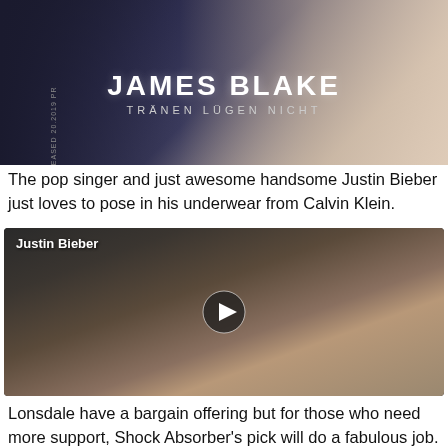[Figure (photo): James Blake album art on dark background with title 'JAMES BLAKE' and subtitle 'TRÄNEN LÜGEN NICHT']
The pop singer and just awesome handsome Justin Bieber just loves to pose in his underwear from Calvin Klein.
[Figure (photo): Justin Bieber shirtless holding a towel behind his shoulders, with a video play button overlay. Label reads 'Justin Bieber'.]
Lonsdale have a bargain offering but for those who need more support, Shock Absorber's pick will do a fabulous job.